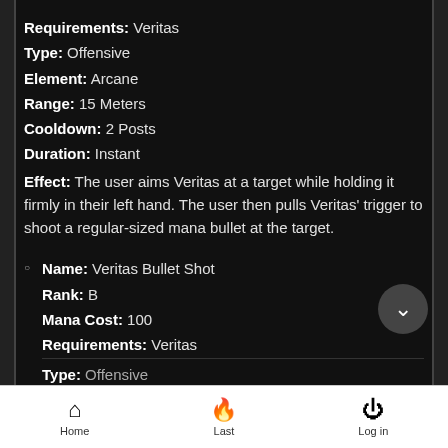Requirements: Veritas
Type: Offensive
Element: Arcane
Range: 15 Meters
Cooldown: 2 Posts
Duration: Instant
Effect: The user aims Veritas at a target while holding it firmly in their left hand. The user then pulls Veritas' trigger to shoot a regular-sized mana bullet at the target.
Name: Veritas Bullet Shot
Rank: B
Mana Cost: 100
Requirements: Veritas
Type: Offensive
Home  Last  Log in